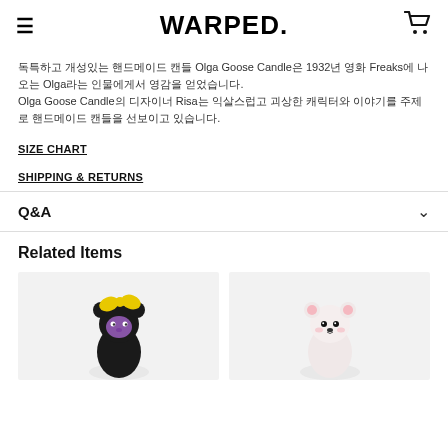WARPED.
독특하고 개성있는 핸드메이드 캔들 Olga Goose Candle은 1932년 영화 Freaks에 나오는 Olga라는 인물에게서 영감을 얻었습니다.
Olga Goose Candle의 디자이너 Risa는 익살스럽고 괴상한 캐릭터와 이야기를 주제로 핸드메이드 캔들을 선보이고 있습니다.
SIZE CHART
SHIPPING & RETURNS
Q&A
Related Items
[Figure (photo): Handmade candle figure - black bear character with yellow hair and purple face]
[Figure (photo): Handmade candle figure - white/pink bear character with black eyes and nose]